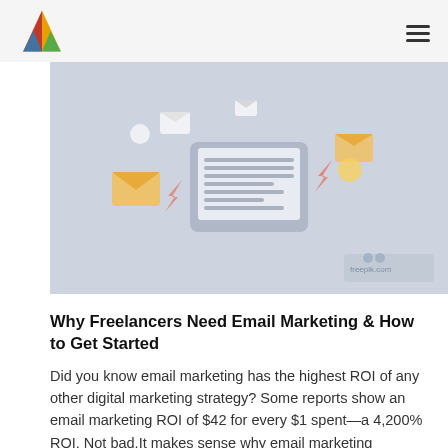[Figure (illustration): Digital illustration showing email marketing concept: a tablet device with a document/email open on screen, surrounded by floating envelopes, notification icons, and communication symbols on a light blue-gray background with a watermark in the lower right.]
Why Freelancers Need Email Marketing & How to Get Started
Did you know email marketing has the highest ROI of any other digital marketing strategy? Some reports show an email marketing ROI of $42 for every $1 spent—a 4,200% ROI. Not bad.It makes sense why email marketing